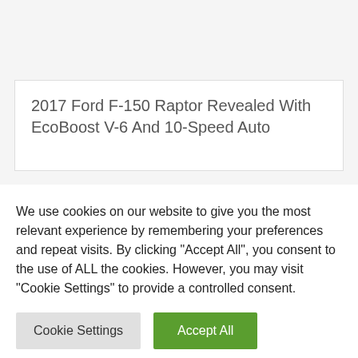2017 Ford F-150 Raptor Revealed With EcoBoost V-6 And 10-Speed Auto
ABOUT THE AUTHOR
We use cookies on our website to give you the most relevant experience by remembering your preferences and repeat visits. By clicking "Accept All", you consent to the use of ALL the cookies. However, you may visit "Cookie Settings" to provide a controlled consent.